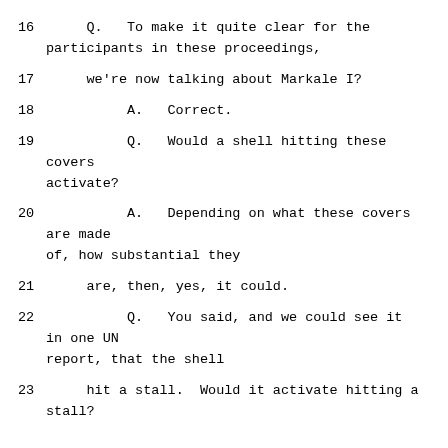16    Q.  To make it quite clear for the participants in these proceedings,
17    we're now talking about Markale I?
18    A.  Correct.
19    Q.  Would a shell hitting these covers activate?
20    A.  Depending on what these covers are made of, how substantial they
21    are, then, yes, it could.
22    Q.  You said, and we could see it in one UN report, that the shell
23    hit a stall.  Would it activate hitting a stall?